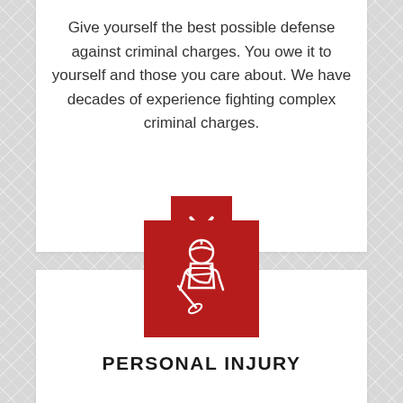Give yourself the best possible defense against criminal charges. You owe it to yourself and those you care about. We have decades of experience fighting complex criminal charges.
[Figure (illustration): Red square button with white chevron/down arrow icon]
[Figure (illustration): Red square icon showing an injured person with bandaged head and arm sling, holding a pen or crutch]
PERSONAL INJURY